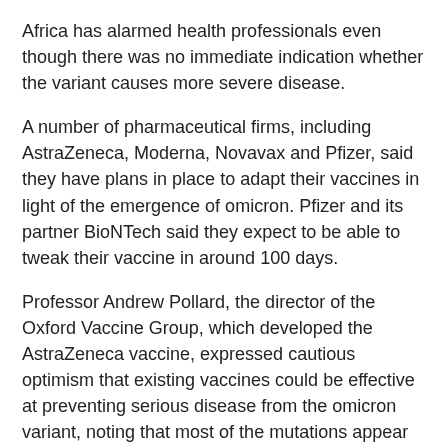Africa has alarmed health professionals even though there was no immediate indication whether the variant causes more severe disease.
A number of pharmaceutical firms, including AstraZeneca, Moderna, Novavax and Pfizer, said they have plans in place to adapt their vaccines in light of the emergence of omicron. Pfizer and its partner BioNTech said they expect to be able to tweak their vaccine in around 100 days.
Professor Andrew Pollard, the director of the Oxford Vaccine Group, which developed the AstraZeneca vaccine, expressed cautious optimism that existing vaccines could be effective at preventing serious disease from the omicron variant, noting that most of the mutations appear to be in similar regions as those in other variants.